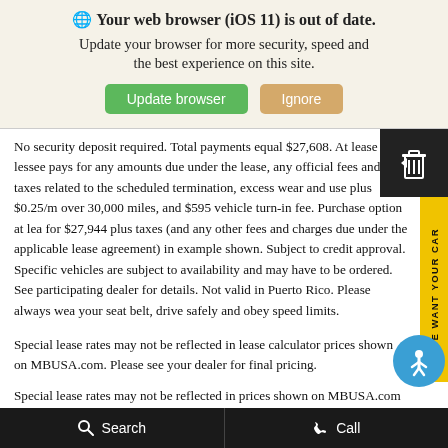[Figure (screenshot): Browser update notification banner with globe icon, bold title 'Your web browser (iOS 11) is out of date.', subtitle 'Update your browser for more security, speed and the best experience on this site.', and two buttons: green 'Update browser' and tan 'Ignore'.]
No security deposit required. Total payments equal $27,608. At lease end, lessee pays for any amounts due under the lease, any official fees and taxes related to the scheduled termination, excess wear and use plus $0.25/mi over 30,000 miles, and $595 vehicle turn-in fee. Purchase option at lease end for $27,944 plus taxes (and any other fees and charges due under the applicable lease agreement) in example shown. Subject to credit approval. Specific vehicles are subject to availability and may have to be ordered. See participating dealer for details. Not valid in Puerto Rico. Please always wear your seat belt, drive safely and obey speed limits.
Special lease rates may not be reflected in lease calculator prices shown on MBUSA.com. Please see your dealer for final pricing.
Special lease rates may not be reflected in prices shown on MBUSA.com. Please see your dealer for final pricing.
Search   Call